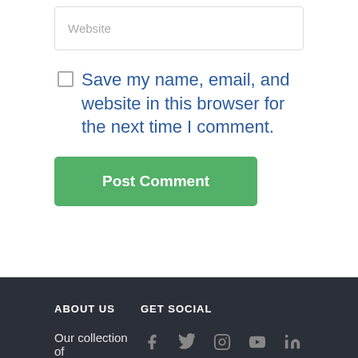Website
Save my name, email, and website in this browser for the next time I comment.
Post Comment
ABOUT US
GET SOCIAL
Our collection of
[Figure (illustration): Social media icons row: Facebook, Twitter, Instagram, YouTube, LinkedIn]